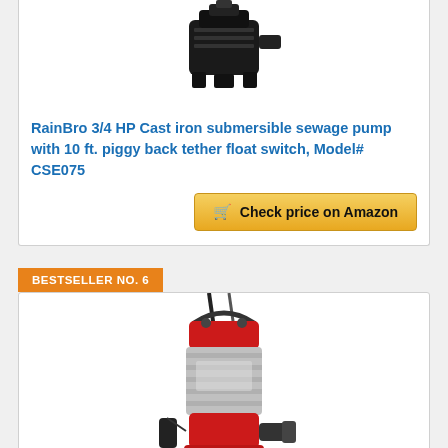[Figure (photo): Black cast iron submersible sewage pump viewed from top/front]
RainBro 3/4 HP Cast iron submersible sewage pump with 10 ft. piggy back tether float switch, Model# CSE075
Check price on Amazon
BESTSELLER NO. 6
[Figure (photo): Red and stainless steel submersible pump with black cable and outlet]